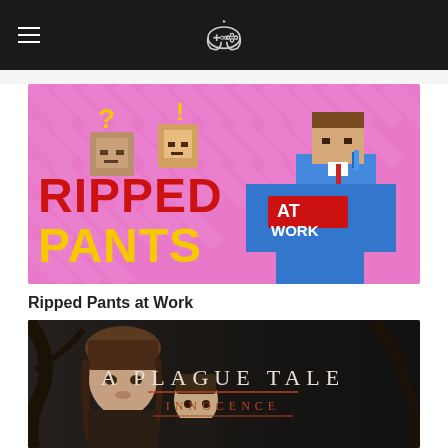Game website header with controller logo
[Figure (screenshot): Ripped Pants at Work game banner with cartoon block-style characters on pink background]
Ripped Pants at Work
[Figure (screenshot): A Plague Tale: Innocence game banner showing two characters, dark atmospheric photo]